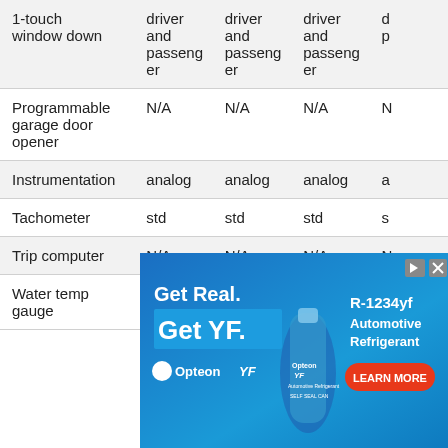| Feature | Col1 | Col2 | Col3 | Col4 |
| --- | --- | --- | --- | --- |
| 1-touch window down | driver and passenger | driver and passenger | driver and passenger | d p |
| Programmable garage door opener | N/A | N/A | N/A | N |
| Instrumentation | analog | analog | analog | a |
| Tachometer | std | std | std | s |
| Trip computer | N/A | N/A | N/A | N |
| Water temp gauge | std | std | std | s |
[Figure (other): Advertisement banner for Opteon YF R-1234yf Automotive Refrigerant with 'Get Real. Get YF.' tagline, bottle image, and 'LEARN MORE' button]